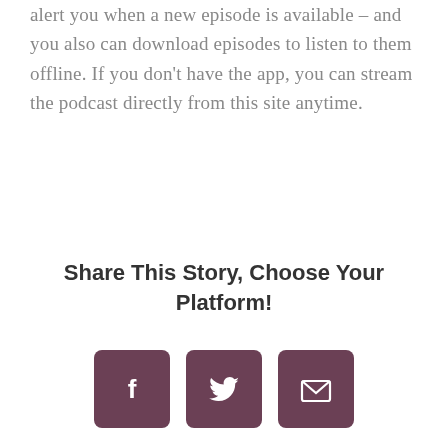alert you when a new episode is available – and you also can download episodes to listen to them offline. If you don't have the app, you can stream the podcast directly from this site anytime.
Share This Story, Choose Your Platform!
[Figure (infographic): Three social sharing icon buttons: Facebook (f), Twitter (bird), and Email (envelope), each in a dark mauve/purple rounded square.]